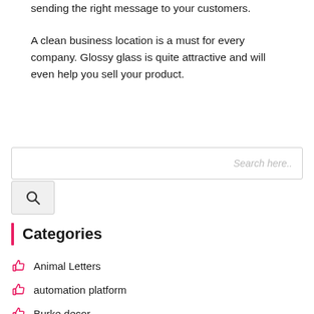sending the right message to your customers.
A clean business location is a must for every company. Glossy glass is quite attractive and will even help you sell your product.
[Figure (other): Search input field with placeholder text 'Search here..' and a search button below with magnifying glass icon]
Categories
Animal Letters
automation platform
Burke decor
Business and Management